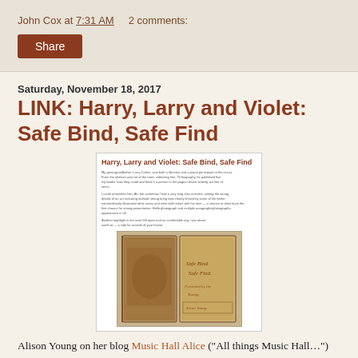John Cox at 7:31 AM    2 comments:
Share
Saturday, November 18, 2017
LINK: Harry, Larry and Violet: Safe Bind, Safe Find
[Figure (screenshot): Screenshot of a blog article titled 'Harry, Larry and Violet: Safe Bind, Safe Find' showing text paragraphs and a photograph of an antique book or artifact with the text 'Safe Bind Safe Find' visible on its cover.]
Alison Young on her blog Music Hall Alice ("All things Music Hall...") has posted a photo of a terrific personal Houdini artifact